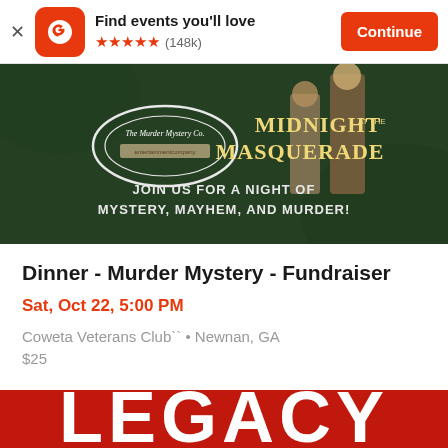Find events you'll love  ★★★★★ (148k)  Continue
[Figure (photo): Murder Mystery Co. promotional banner. Dark green background with costumed figures. Logo reads 'The Murder Mystery Co.' Text: 'MIDNIGHT AT THE MASQUERADE' and 'JOIN US FOR A NIGHT OF MYSTERY, MAYHEM, AND MURDER!']
Dinner - Murder Mystery - Fundraiser
Sat, Oct 22, 5:00 PM
Coweta Veterans Club`` • Newnan, GA
$25
[Figure (logo): Partial red banner at bottom with white bold text reading 'LEGACY' (partially visible)]